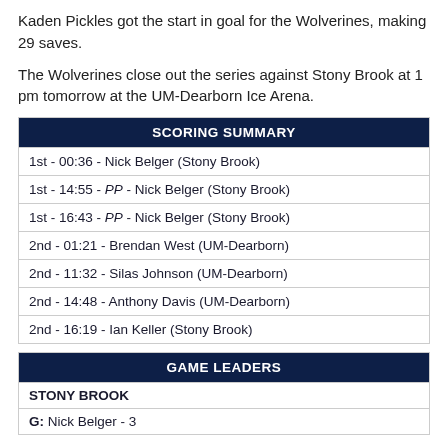Kaden Pickles got the start in goal for the Wolverines, making 29 saves.
The Wolverines close out the series against Stony Brook at 1 pm tomorrow at the UM-Dearborn Ice Arena.
| SCORING SUMMARY |
| --- |
| 1st - 00:36 - Nick Belger (Stony Brook) |
| 1st - 14:55 - PP - Nick Belger (Stony Brook) |
| 1st - 16:43 - PP - Nick Belger (Stony Brook) |
| 2nd - 01:21 - Brendan West (UM-Dearborn) |
| 2nd - 11:32 - Silas Johnson (UM-Dearborn) |
| 2nd - 14:48 - Anthony Davis (UM-Dearborn) |
| 2nd - 16:19 - Ian Keller (Stony Brook) |
| GAME LEADERS |
| --- |
| STONY BROOK |
| G: Nick Belger - 3 |